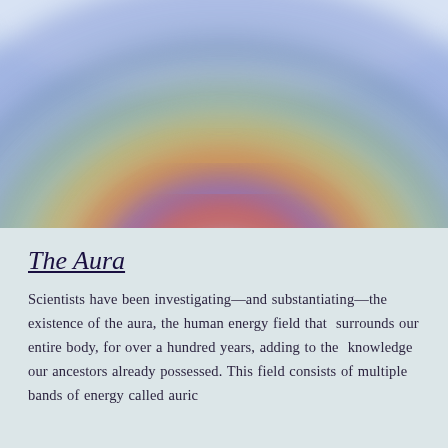[Figure (illustration): A colorful blurred aura image showing concentric arcs of color radiating from a central reddish-pink glowing figure or form. Colors transition from deep red/pink at center through orange, yellow, green, purple to blue at the outer edges, set against a light blue background. The image has a soft, blurred, painterly quality.]
The Aura
Scientists have been investigating—and substantiating—the existence of the aura, the human energy field that  surrounds our entire body, for over a hundred years, adding to the  knowledge our ancestors already possessed. This field consists of multiple bands of energy called auric